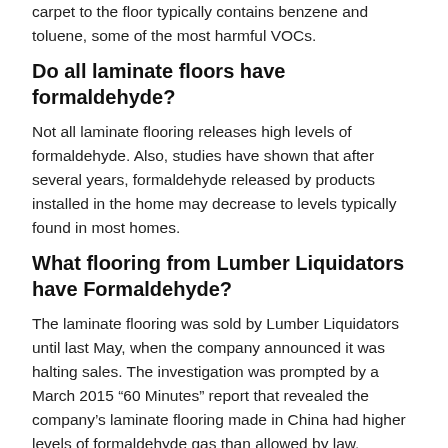carpet to the floor typically contains benzene and toluene, some of the most harmful VOCs.
Do all laminate floors have formaldehyde?
Not all laminate flooring releases high levels of formaldehyde. Also, studies have shown that after several years, formaldehyde released by products installed in the home may decrease to levels typically found in most homes.
What flooring from Lumber Liquidators have Formaldehyde?
The laminate flooring was sold by Lumber Liquidators until last May, when the company announced it was halting sales. The investigation was prompted by a March 2015 “60 Minutes” report that revealed the company’s laminate flooring made in China had higher levels of formaldehyde gas than allowed by law.
Does Lumber Liquidators still have Formaldehyde?